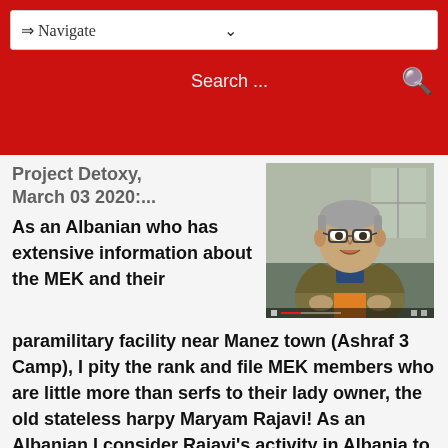⇒ Navigate
Search ...
Project Detoxy, March 03 2020:...
As an Albanian who has extensive information about the MEK and their paramilitary facility near Manez town (Ashraf 3 Camp), I pity the rank and file MEK members who are little more than serfs to their lady owner, the old stateless harpy Maryam Rajavi! As an Albanian I consider Rajavi's activity in Albania to be a threat to the national security of my homeland and a blatant violation of human rights of the poor cult members! Tell the families to wait and hope... Gjergji Thanasi In Albanian
[Figure (photo): Photo of a middle-aged man with glasses and grey hair wearing a jacket, speaking or being interviewed]